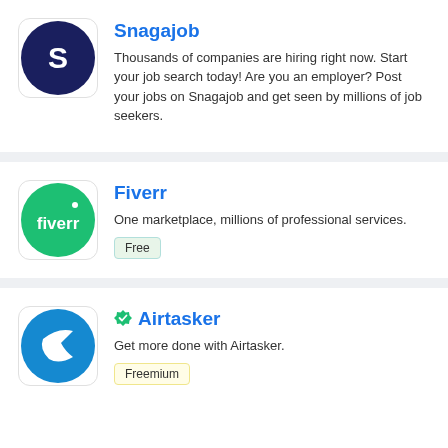[Figure (logo): Snagajob app logo: dark navy circle with white 'S' letter]
Snagajob
Thousands of companies are hiring right now. Start your job search today! Are you an employer? Post your jobs on Snagajob and get seen by millions of job seekers.
[Figure (logo): Fiverr app logo: green circle with white 'fiverr' text]
Fiverr
One marketplace, millions of professional services.
Free
[Figure (logo): Airtasker app logo: blue circle with white boomerang/wing shape]
Airtasker
Get more done with Airtasker.
Freemium